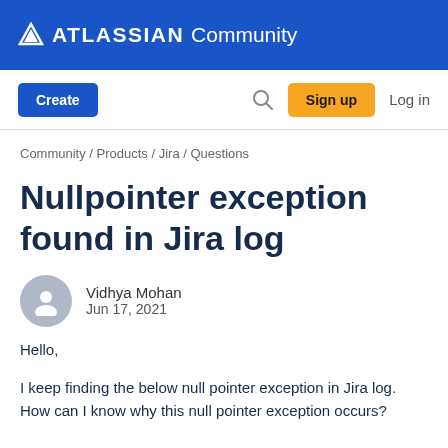ATLASSIAN Community
Create   🔍   Sign up   Log in
Community / Products / Jira / Questions
Nullpointer exception found in Jira log
Vidhya Mohan
Jun 17, 2021
Hello,
I keep finding the below null pointer exception in Jira log. How can I know why this null pointer exception occurs?